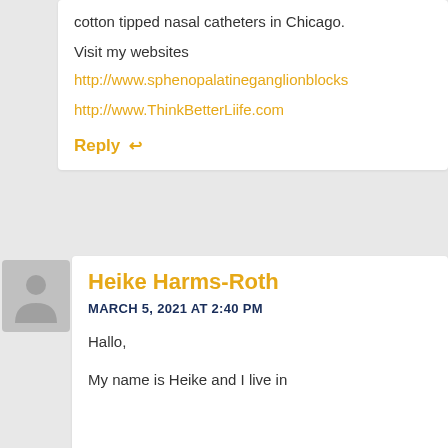cotton tipped nasal catheters in Chicago.
Visit my websites
http://www.sphenopalatineganglionblocks...
http://www.ThinkBetterLiife.com
Reply ↩
Heike Harms-Roth
MARCH 5, 2021 AT 2:40 PM
Hallo,

My name is Heike and I live in